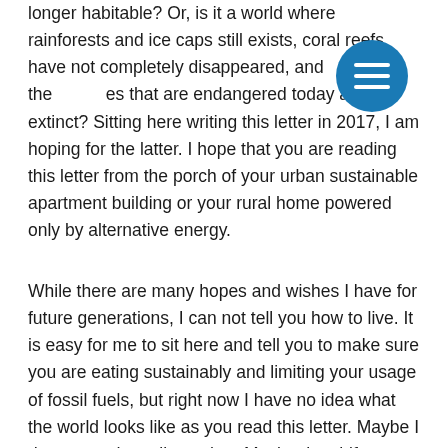longer habitable? Or, is it a world where rainforests and ice caps still exists, coral reefs have not completely disappeared, and the species that are endangered today are not extinct? Sitting here writing this letter in 2017, I am hoping for the latter. I hope that you are reading this letter from the porch of your urban sustainable apartment building or your rural home powered only by alternative energy.
While there are many hopes and wishes I have for future generations, I can not tell you how to live. It is easy for me to sit here and tell you to make sure you are eating sustainably and limiting your usage of fossil fuels, but right now I have no idea what the world looks like as you read this letter. Maybe I do not need to tell you that. Maybe the shift away from unsustainable dairy and meat consumption and agricultural practices is more widespread than today. In addition to that, maybe coal and other fossil fuels are no longer in circulation as all new cars are electric and homes